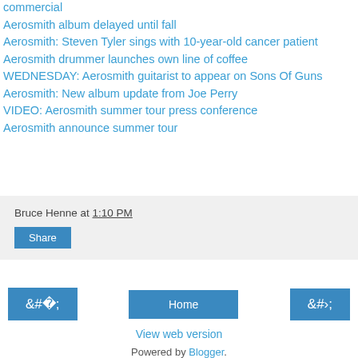commercial
Aerosmith album delayed until fall
Aerosmith: Steven Tyler sings with 10-year-old cancer patient
Aerosmith drummer launches own line of coffee
WEDNESDAY: Aerosmith guitarist to appear on Sons Of Guns
Aerosmith: New album update from Joe Perry
VIDEO: Aerosmith summer tour press conference
Aerosmith announce summer tour
Bruce Henne at 1:10 PM
Share
‹
Home
›
View web version
Powered by Blogger.